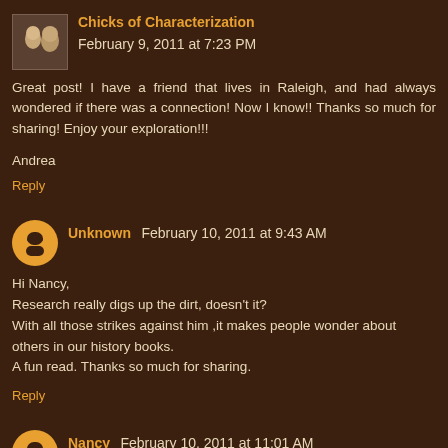Chicks of Characterization February 9, 2011 at 7:23 PM
Great post! I have a friend that lives in Raleigh, and had always wondered if there was a connection! Now I know!! Thanks so much for sharing! Enjoy your exploration!!!

Andrea
Reply
Unknown February 10, 2011 at 9:43 AM
Hi Nancy,
Research really digs up the dirt, doesn't it?
With all those strikes against him ,it makes people wonder about others in our history books.
A fun read. Thanks so much for sharing.
Reply
Nancy February 10, 2011 at 11:01 AM